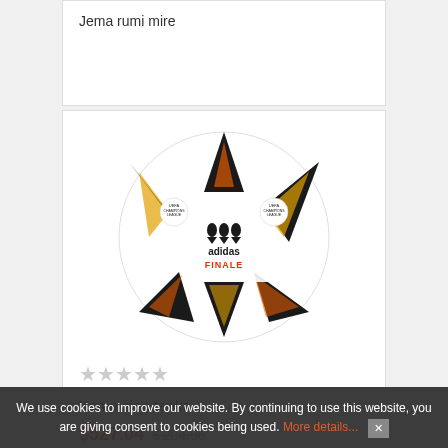Jema rumi mire
[Figure (photo): Adidas Finale UEFA Champions League soccer ball, white with black and orange/yellow star pattern, on white background]
★★★★★ (empty stars rating)
Koma sina tenka
$527.04  $204.96 (strikethrough)
We use cookies to improve our website. By continuing to use this website, you are giving consent to cookies being used. More details...